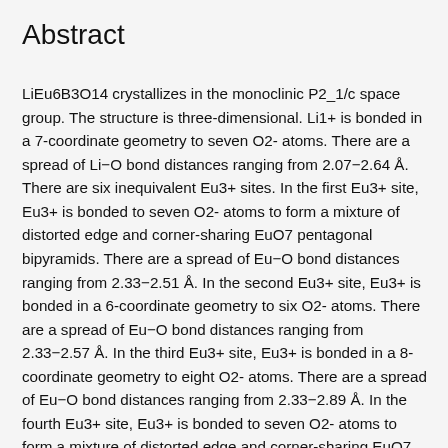Abstract
LiEu6B3O14 crystallizes in the monoclinic P2_1/c space group. The structure is three-dimensional. Li1+ is bonded in a 7-coordinate geometry to seven O2- atoms. There are a spread of Li−O bond distances ranging from 2.07−2.64 Å. There are six inequivalent Eu3+ sites. In the first Eu3+ site, Eu3+ is bonded to seven O2- atoms to form a mixture of distorted edge and corner-sharing EuO7 pentagonal bipyramids. There are a spread of Eu−O bond distances ranging from 2.33−2.51 Å. In the second Eu3+ site, Eu3+ is bonded in a 6-coordinate geometry to six O2- atoms. There are a spread of Eu−O bond distances ranging from 2.33−2.57 Å. In the third Eu3+ site, Eu3+ is bonded in a 8-coordinate geometry to eight O2- atoms. There are a spread of Eu−O bond distances ranging from 2.33−2.89 Å. In the fourth Eu3+ site, Eu3+ is bonded to seven O2- atoms to form a mixture of distorted edge and corner-sharing EuO7